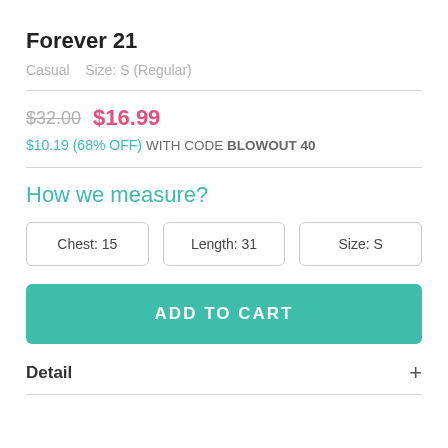Forever 21
Casual   Size: S (Regular)
$32.00  $16.99
$10.19 (68% OFF) WITH CODE BLOWOUT 40
How we measure?
Chest: 15   Length: 31   Size: S
ADD TO CART
Detail +